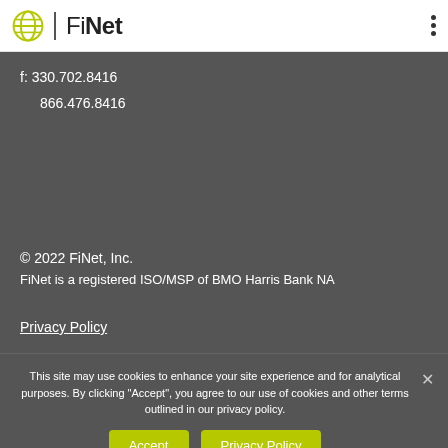FiNet
f: 330.702.8416
866.476.8416
© 2022 FiNet, Inc.
FiNet is a registered ISO/MSP of BMO Harris Bank NA
Privacy Policy
This site may use cookies to enhance your site experience and for analytical purposes. By clicking "Accept", you agree to our use of cookies and other terms outlined in our privacy policy.